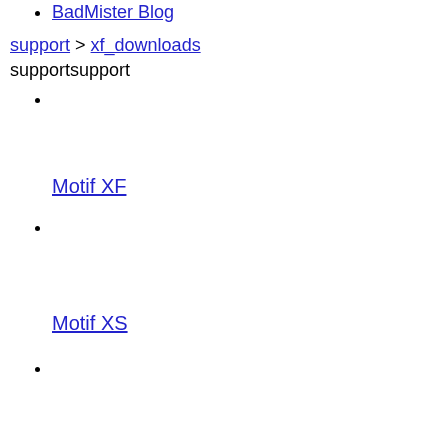BadMister Blog
support > xf_downloads
supportsupport
Motif XF
Motif XS
Motif ES